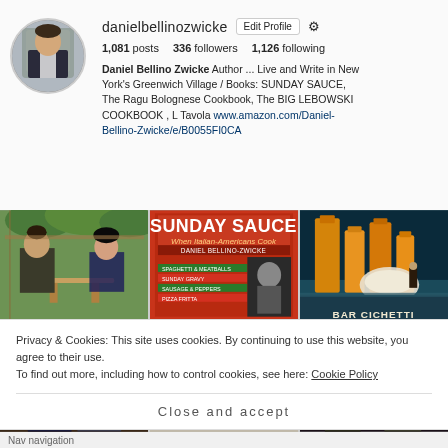danielbellinozwicke  Edit Profile  ⚙
1,081 posts   336 followers   1,126 following
Daniel Bellino Zwicke Author ... Live and Write in New York's Greenwich Village / Books: SUNDAY SAUCE, The Ragu Bolognese Cookbook, The BIG LEBOWSKI COOKBOOK , L Tavola www.amazon.com/Daniel-Bellino-Zwicke/e/B0055FI0CA
[Figure (photo): Six Instagram photo grid images: outdoor dining couple, Sunday Sauce cookbook cover, Bar Cichetti art deco poster, two people selfie, group of men standing, two men at event]
Privacy & Cookies: This site uses cookies. By continuing to use this website, you agree to their use.
To find out more, including how to control cookies, see here: Cookie Policy
Close and accept
Nav navigation